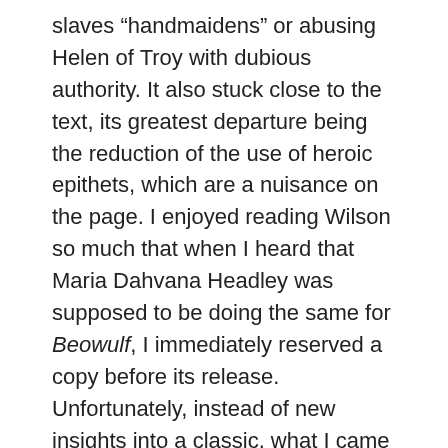slaves “handmaidens” or abusing Helen of Troy with dubious authority. It also stuck close to the text, its greatest departure being the reduction of the use of heroic epithets, which are a nuisance on the page. I enjoyed reading Wilson so much that when I heard that Maria Dahvana Headley was supposed to be doing the same for Beowulf, I immediately reserved a copy before its release. Unfortunately, instead of new insights into a classic, what I came away with an appreciation of the importance of tone – not just in translation, but in historical and fantasy fiction as well.
For some reason, Headley became infatuated with the idea that the heroic culture of Beowulf could be compared with the current Bro culture. This idea seems dubious even to my haphazard scholarship, for the simple reason that the heroic culture is all about the social obligations between war leaders and their followers. The leaders set an example, and reward followers with treasure and feasting, and in